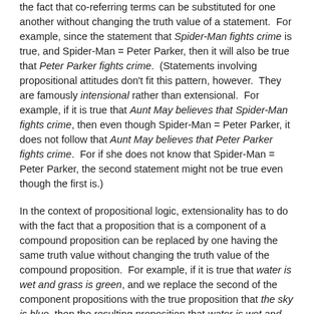the fact that co-referring terms can be substituted for one another without changing the truth value of a statement. For example, since the statement that Spider-Man fights crime is true, and Spider-Man = Peter Parker, then it will also be true that Peter Parker fights crime. (Statements involving propositional attitudes don't fit this pattern, however. They are famously intensional rather than extensional. For example, if it is true that Aunt May believes that Spider-Man fights crime, then even though Spider-Man = Peter Parker, it does not follow that Aunt May believes that Peter Parker fights crime. For if she does not know that Spider-Man = Peter Parker, the second statement might not be true even though the first is.)
In the context of propositional logic, extensionality has to do with the fact that a proposition that is a component of a compound proposition can be replaced by one having the same truth value without changing the truth value of the compound proposition. For example, if it is true that water is wet and grass is green, and we replace the second of the component propositions with the true proposition that the sky is blue, then the resulting proposition that water is wet and the sky is blue will also be true.